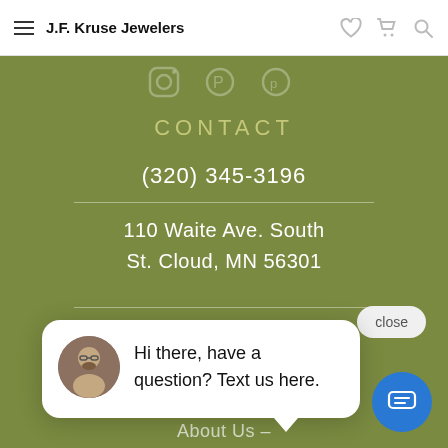J.F. Kruse Jewelers
CONTACT
(320) 345-3196
110 Waite Ave. South
St. Cloud, MN 56301
Sun - Closed
COMPANY
About Us –
Hi there, have a question? Text us here.